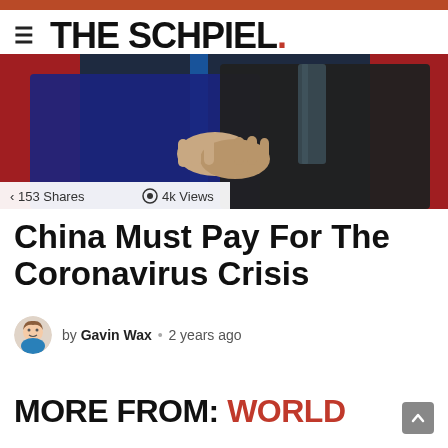THE SCHPIEL.
[Figure (photo): Two men in suits shaking hands, one wearing a blue tie, with red backgrounds visible on the sides.]
153 Shares  4k Views
China Must Pay For The Coronavirus Crisis
by Gavin Wax · 2 years ago
MORE FROM: WORLD